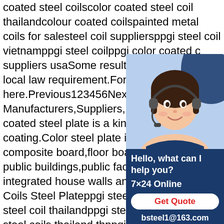coated steel coilscolor coated steel coil thailandcolour coated coilspainted metal coils for salesteel coil suppliersppgi steel coil vietnamppgi steel coilppgi color coated c… suppliers usaSome results are removed… local law requirement.For more informati… here.Previous123456NextColor Coated S… Manufacturers,Suppliers,Factory Color C… coated steel plate is a kind of steel plate… coating.Color steel plate is divided into si… composite board,floor board and so on.W… public buildings,public factories,movable… integrated house walls and roofs.Related… Coils Steel Plateppgi steel coil vietnamppgi steel coil thailandppgi steel coil koreanppgi steel coils thailand thppgi coils prepainted color coilsppgi steel coilppgi color coated coilsppgi coil importer12345NextVideos of Steel PPGI Coils Steel Plate Watch video on youku0:46Prepainted galvanized steel sheet PPGI Steel
[Figure (illustration): A chat support widget with a photo of a customer service representative (woman with headset), text saying 'Hello, what can I help you?', '7x24 Online', a red 'Get Quote' button, and 'bsteel1@163.com']